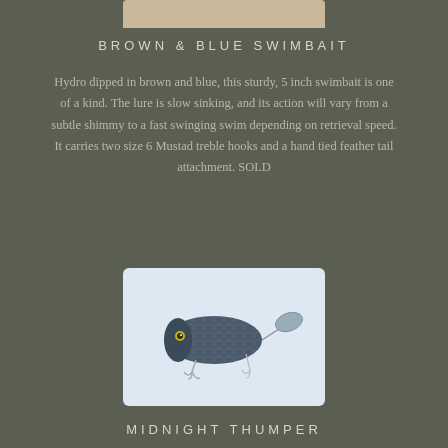[Figure (photo): Partial view of brown and blue swimbait lure on beige/cream background, cropped at top of page]
BROWN & BLUE SWIMBAIT
Hydro dipped in brown and blue, this sturdy, 5 inch swimbait is one of a kind. The lure is slow sinking, and its action will vary from a subtle shimmy to a fast swinging swim depending on retrieval speed. It carries two size 6 Mustad treble hooks and a hand tied feather tail attachment. SOLD
[Figure (photo): Midnight Thumper fishing lure — dark blue/grey body with scale texture, silver spinner blade at tail, treble hooks, on light blue background]
MIDNIGHT THUMPER